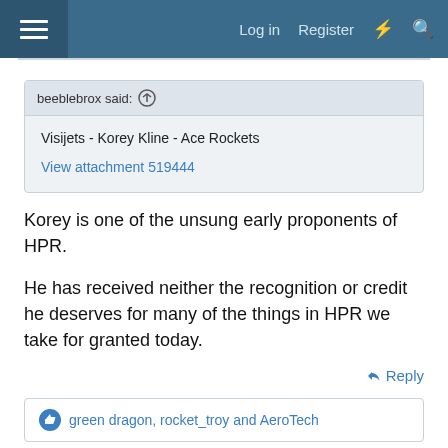Log in  Register
beeblebrox said: ↑
Visijets - Korey Kline - Ace Rockets
View attachment 519444
Korey is one of the unsung early proponents of HPR.

He has received neither the recognition or credit he deserves for many of the things in HPR we take for granted today.
↩ Reply
👍 green dragon, rocket_troy and AeroTech